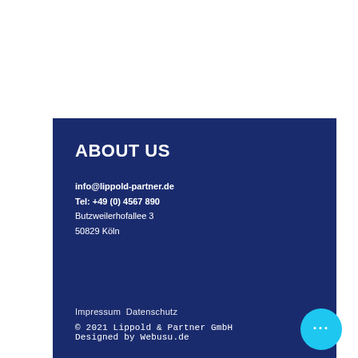ABOUT US
info@lippold-partner.de
Tel: +49 (0) 4567 890
Butzweilerhofallee 3
50829 Köln
Impressum  Datenschutz
© 2021 Lippold & Partner GmbH
Designed by Webusu.de